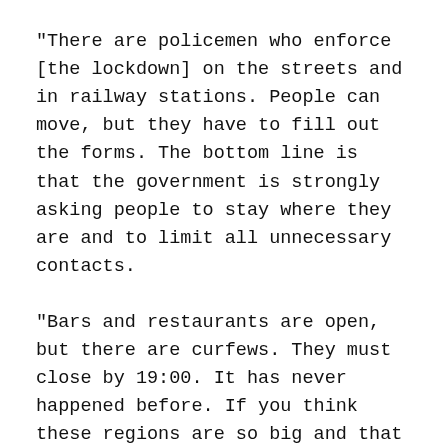“There are policemen who enforce [the lockdown] on the streets and in railway stations. People can move, but they have to fill out the forms. The bottom line is that the government is strongly asking people to stay where they are and to limit all unnecessary contacts.
“Bars and restaurants are open, but there are curfews. They must close by 19:00. It has never happened before. If you think these regions are so big and that they are blocked in Europe during the peace period. It has never happened before. He is quite crazy. ”
“But I don’t live in a big city and the situation I perceive when I was at the supermarket is that people are actually quite calm. There